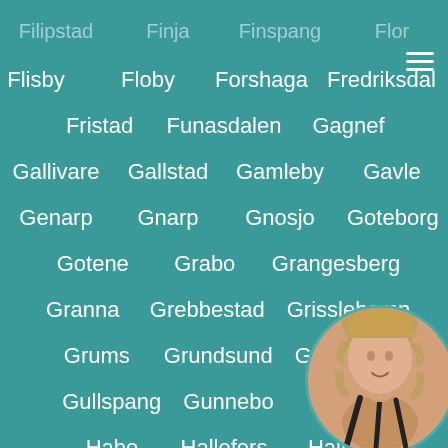Flisby   Floby   Forshaga   Fredriksdal
Fristad   Funasdalen   Gagnef
Gallivare   Gallstad   Gamleby   Gavle
Genarp   Gnarp   Gnosjo   Goteborg
Gotene   Grabo   Grangesberg
Granna   Grebbestad   Grisslehamn
Grums   Grundsund   Grythyttan
Gullspang   Gunnebo   Gusta
Habo   Hallefors   Hallef
Hallen   Hallevik   Hallsberg
[Figure (photo): Circular avatar photo of a woman with light curly/wavy hair, wearing dark lingerie, posed with hands near head, bottom-right corner of screen]